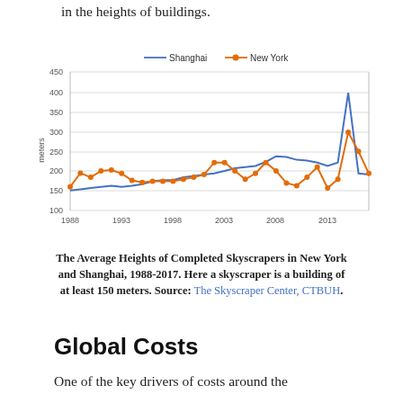in the heights of buildings.
[Figure (line-chart): ]
The Average Heights of Completed Skyscrapers in New York and Shanghai, 1988-2017. Here a skyscraper is a building of at least 150 meters. Source: The Skyscraper Center, CTBUH.
Global Costs
One of the key drivers of costs around the